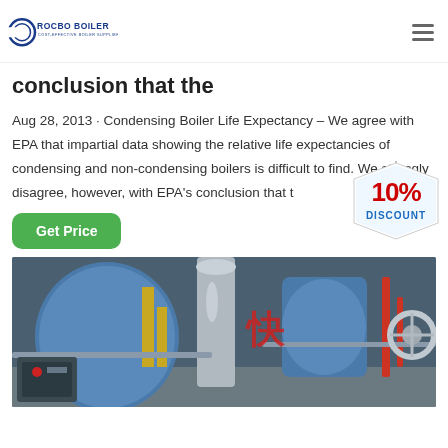ROCBO BOILER - COST-EFFECTIVE BOILER SUPPLIER
conclusion that the
Aug 28, 2013 · Condensing Boiler Life Expectancy – We agree with EPA that impartial data showing the relative life expectancies of condensing and non-condensing boilers is difficult to find. We strongly disagree, however, with EPA's conclusion that t
[Figure (other): 10% DISCOUNT badge/sticker in red and blue text on a tag shape]
[Figure (photo): Industrial boiler room showing blue boilers, pipes, and equipment with Chinese text markings]